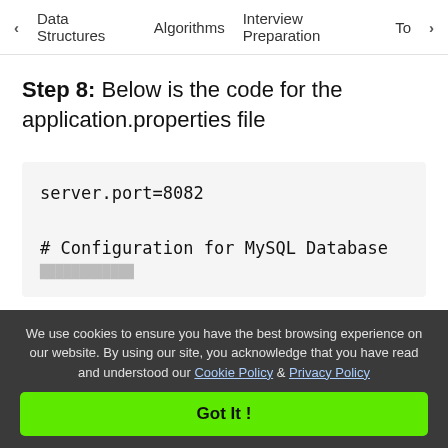< Data Structures   Algorithms   Interview Preparation   To>
Step 8: Below is the code for the application.properties file
server.port=8082

# Configuration for MySQL Database
We use cookies to ensure you have the best browsing experience on our website. By using our site, you acknowledge that you have read and understood our Cookie Policy & Privacy Policy
Got It !